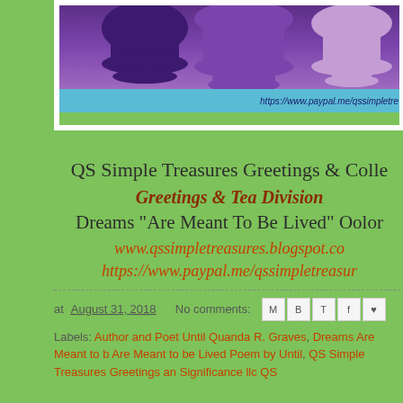[Figure (illustration): Blog header banner with purple tea cup silhouettes on purple gradient background, with a cyan/teal bar at the bottom containing a PayPal URL in dark italic text]
QS Simple Treasures Greetings & Colle
Greetings & Tea Division
Dreams "Are Meant To Be Lived" Oolor
www.qssimpletreasures.blogspot.co
https://www.paypal.me/qssimpletreasur
at August 31, 2018   No comments:
Labels: Author and Poet Until Quanda R. Graves, Dreams Are Meant to b Are Meant to be Lived Poem by Until, QS Simple Treasures Greetings an Significance llc QS